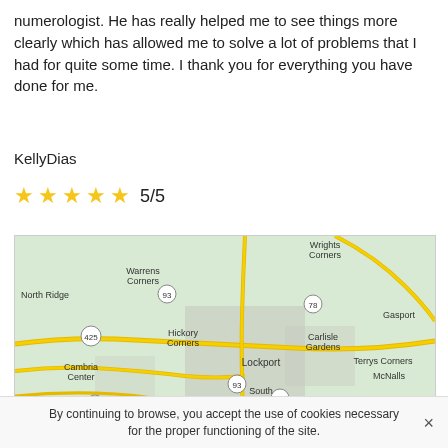numerologist. He has really helped me to see things more clearly which has allowed me to solve a lot of problems that I had for quite some time. I thank you for everything you have done for me.
KellyDias
★★★★★ 5/5
[Figure (map): Google Maps view showing Lockport, NY area with surrounding neighborhoods including Wrights Corners, Warrens Corners, North Ridge, Hickory Corners, Carlisle Gardens, Cambria Center, South Lockport, Terrys Corners, McNalls, Gasport, and route markers 93, 78, 425, 31, 270.]
By continuing to browse, you accept the use of cookies necessary for the proper functioning of the site.